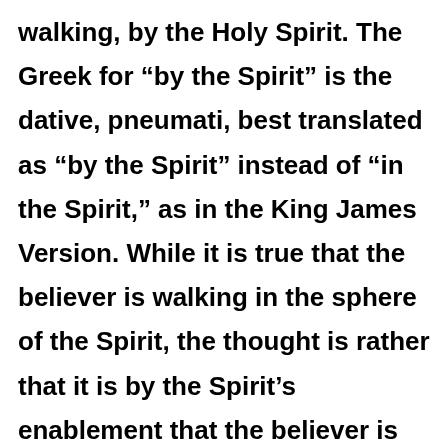walking, by the Holy Spirit. The Greek for “by the Spirit” is the dative, pneumati, best translated as “by the Spirit” instead of “in the Spirit,” as in the King James Version. While it is true that the believer is walking in the sphere of the Spirit, the thought is rather that it is by the Spirit’s enablement that the believer is able to accomplish the high